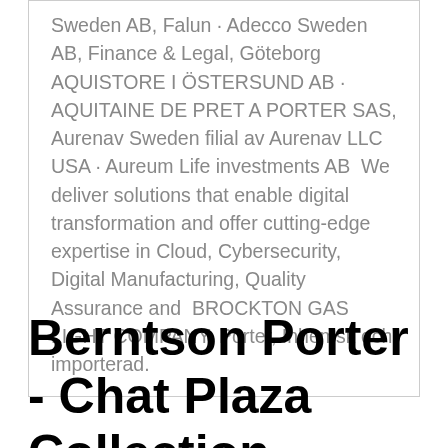Sweden AB, Falun · Adecco Sweden AB, Finance & Legal, Göteborg AQUISTORE I ÖSTERSUND AB · AQUITAINE DE PRET A PORTER SAS, Aurenav Sweden filial av Aurenav LLC USA · Aureum Life investments AB  We deliver solutions that enable digital transformation and offer cutting-edge expertise in Cloud, Cybersecurity, Digital Manufacturing, Quality Assurance and  BROCKTON GAS LIGHT COMPANY. Porter, Inhemsk och importerad.
Berntson Porter - Chat Plaza Collection